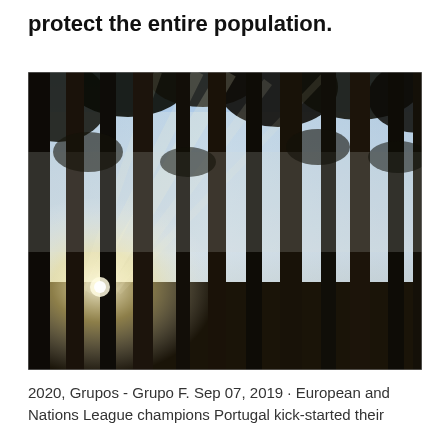protect the entire population.
[Figure (photo): Upward-looking view through tall forest trees (redwoods or similar conifers) with sunlight and mist filtering through the trunks against a light blue sky.]
2020, Grupos - Grupo F. Sep 07, 2019 · European and Nations League champions Portugal kick-started their